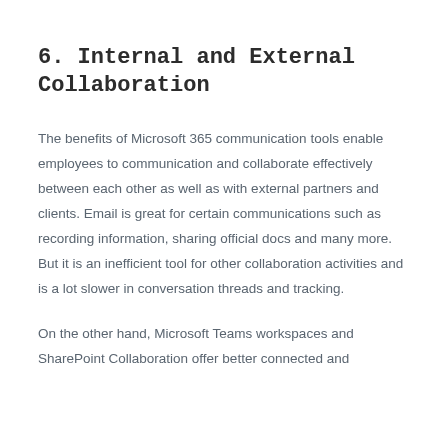6. Internal and External Collaboration
The benefits of Microsoft 365 communication tools enable employees to communication and collaborate effectively between each other as well as with external partners and clients. Email is great for certain communications such as recording information, sharing official docs and many more. But it is an inefficient tool for other collaboration activities and is a lot slower in conversation threads and tracking.
On the other hand, Microsoft Teams workspaces and SharePoint Collaboration offer better connected and